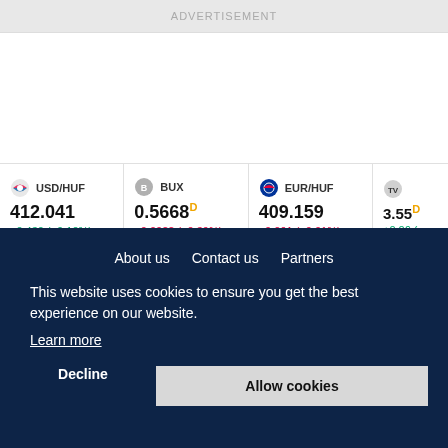ADVERTISEMENT
| Symbol | Price | Change |
| --- | --- | --- |
| USD/HUF | 412.041 | +0.430 (+0.10%) |
| BUX | 0.5668 D | -0.0022 (-0.39%) |
| EUR/HUF | 409.159 | -0.061 (-0.01%) |
| TV... | 3.55 D | +0.06 ( |
Markets
About us   Contact us   Partners
This website uses cookies to ensure you get the best experience on our website.
Learn more
Decline
Allow cookies